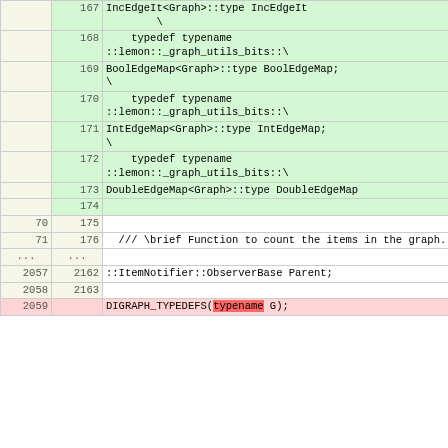| old | new | code |
| --- | --- | --- |
|  | 167 | IncEdgeIt<Graph>::type IncEdgeIt
\ |
|  | 168 |     typedef typename
::lemon::_graph_utils_bits::
\ |
|  | 169 | BoolEdgeMap<Graph>::type BoolEdgeMap;
\ |
|  | 170 |     typedef typename
::lemon::_graph_utils_bits::
\ |
|  | 171 | IntEdgeMap<Graph>::type IntEdgeMap;
\ |
|  | 172 |     typedef typename
::lemon::_graph_utils_bits::
\ |
|  | 173 | DoubleEdgeMap<Graph>::type DoubleEdgeMap |
|  | 174 |  |
| 70 | 175 |  |
| 71 | 176 |   /// \brief Function to count the items in the graph. |
| ... | ... |  |
| 2057 | 2162 | ::ItemNotifier::ObserverBase Parent; |
| 2058 | 2163 |  |
| 2059 |  | DIGRAPH_TYPEDEFS(typename G); |